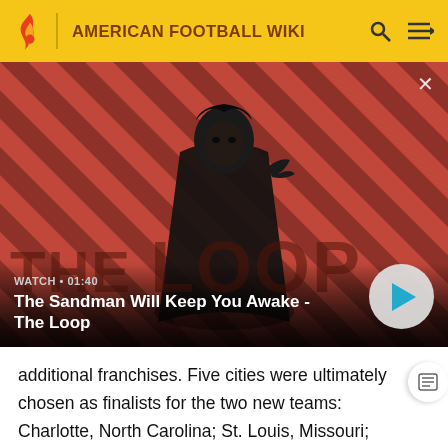AMERICAN FOOTBALL WIKI
[Figure (screenshot): Video thumbnail showing a man in dark clothing with a crow on his shoulder against a red and dark diagonal striped background. Overlay text reads WATCH · 01:40 and title The Sandman Will Keep You Awake - The Loop with a play button.]
additional franchises. Five cities were ultimately chosen as finalists for the two new teams: Charlotte, North Carolina; St. Louis, Missouri; Baltimore, Maryland; Memphis, Tennessee; and Jacksonville. From the beginning, Charlotte and St. Louis were considered the